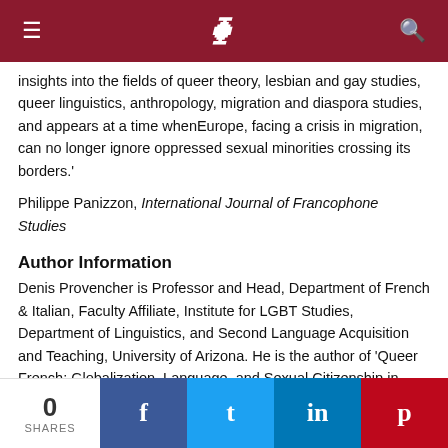≡  )  🔍
insights into the fields of queer theory, lesbian and gay studies, queer linguistics, anthropology, migration and diaspora studies, and appears at a time whenEurope, facing a crisis in migration, can no longer ignore oppressed sexual minorities crossing its borders.'
Philippe Panizzon, International Journal of Francophone Studies
Author Information
Denis Provencher is Professor and Head, Department of French & Italian, Faculty Affiliate, Institute for LGBT Studies, Department of Linguistics, and Second Language Acquisition and Teaching, University of Arizona. He is the author of 'Queer French: Globalization, Language, and Sexual Citizenship in France' (Ashgate Publishing, 2007).
0 SHARES  f  t  in  p